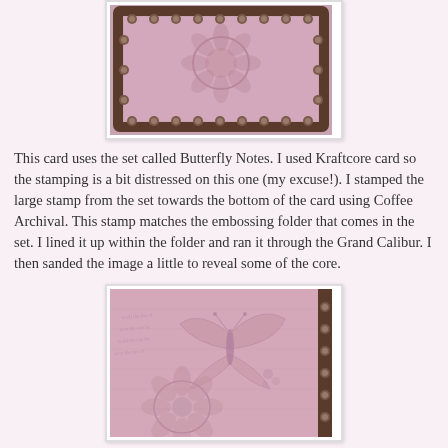[Figure (photo): Top photograph of a pink craft card with embossed flower design, shown within a decorative dark brown frame with studs/rivets along the border.]
This card uses the set called Butterfly Notes. I used Kraftcore card so the stamping is a bit distressed on this one (my excuse!). I stamped the large stamp from the set towards the bottom of the card using Coffee Archival. This stamp matches the embossing folder that comes in the set. I lined it up within the folder and ran it through the Grand Calibur. I then sanded the image a little to reveal some of the core.
[Figure (photo): Bottom photograph of a pink craft card with an embossed butterfly and flower design, and decorative studs along the right edge.]